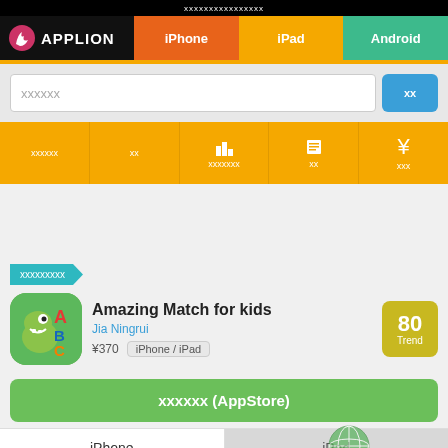xxxxxxxxxxxxxxxx
APPLION
iPhone | iPad | Android
xxxxxx search field
xxxxxx | xx | xxxxxxx | xx | xxx
xxxxxxxxx
Amazing Match for kids
Jia Ningrui
¥370  iPhone / iPad
80 Trend
xxxxxx (AppStore)
iPhone | iPad